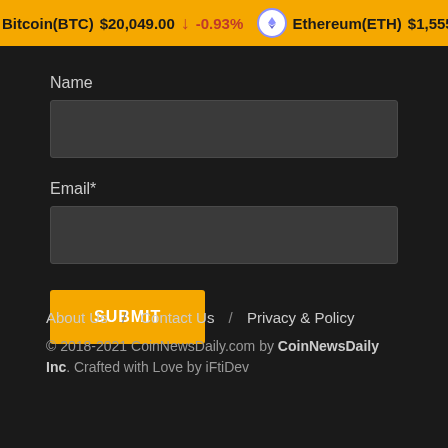Bitcoin(BTC) $20,049.00 ↓ -0.93% Ethereum(ETH) $1,555.03 ↓
Name
Email*
SUBMIT
About Us / Contact Us / Privacy & Policy
© 2018-2021 CoinNewsDaily.com by CoinNewsDaily Inc. Crafted with Love by iFtiDev